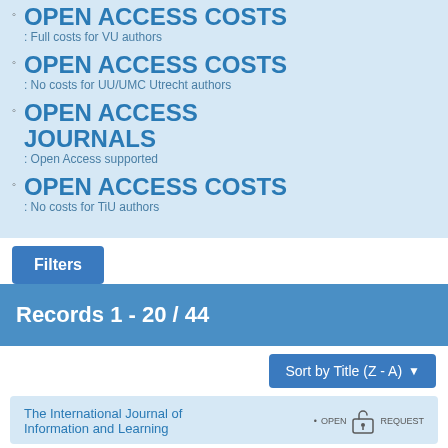OPEN ACCESS COSTS: Full costs for VU authors
OPEN ACCESS COSTS: No costs for UU/UMC Utrecht authors
OPEN ACCESS JOURNALS: Open Access supported
OPEN ACCESS COSTS: No costs for TiU authors
Filters
Records 1 - 20 / 44
Sort by Title (Z - A)
The International Journal of Information and Learning